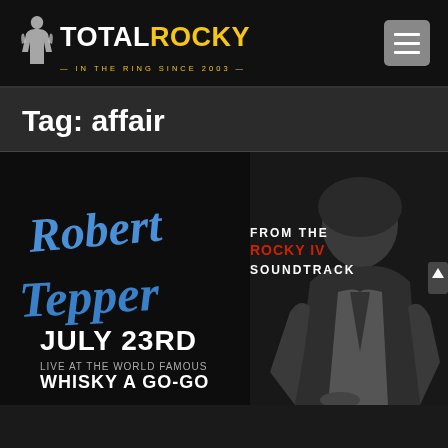TOTALROCKY — IN THE RING SINCE 2003
Tag: affair
[Figure (photo): Robert Tepper promotional concert poster. Blue cursive text reads 'Robert Tepper'. White text reads 'FROM THE ROCKY IV SOUNDTRACK'. Below: 'JULY 23RD LIVE AT THE WORLD FAMOUS WHISKY A GO-GO'. Black and white photo of a rock musician on the right side.]